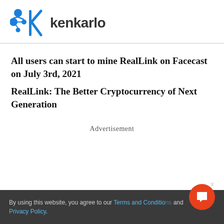[Figure (logo): Kenkarlo logo with blue interlocking nodes icon and text 'kenkarlo']
All users can start to mine RealLink on Facecast on July 3rd, 2021
RealLink: The Better Cryptocurrency of Next Generation
Advertisement
By using this website, you agree to our Terms and Conditions and Privacy Policy.